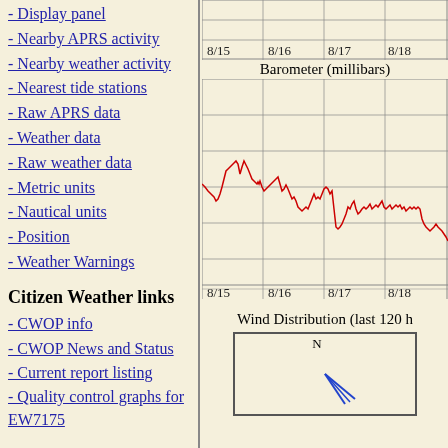- Display panel
- Nearby APRS activity
- Nearby weather activity
- Nearest tide stations
- Raw APRS data
- Weather data
- Raw weather data
- Metric units
- Nautical units
- Position
- Weather Warnings
Citizen Weather links
- CWOP info
- CWOP News and Status
- Current report listing
- Quality control graphs for EW7175
External links for EW7175
- QRZ Lookup
[Figure (continuous-plot): Barometer (millibars) line chart from 8/15 to 8/18+, showing oscillating red line with peaks and troughs across a grid. X-axis labels: 8/15, 8/16, 8/17, 8/18.]
[Figure (other): Wind Distribution (last 120 hours) compass rose wind rose diagram showing N at top and blue lines indicating wind direction.]